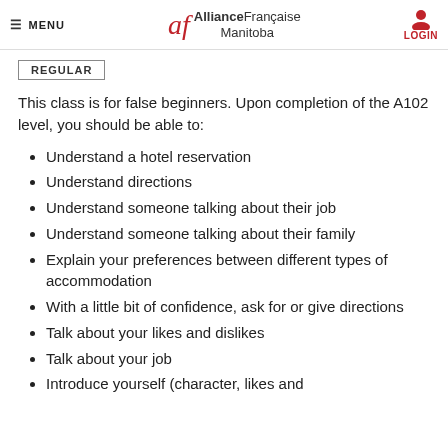≡ MENU | Alliance Française Manitoba | LOGIN
REGULAR
This class is for false beginners. Upon completion of the A102 level, you should be able to:
Understand a hotel reservation
Understand directions
Understand someone talking about their job
Understand someone talking about their family
Explain your preferences between different types of accommodation
With a little bit of confidence, ask for or give directions
Talk about your likes and dislikes
Talk about your job
Introduce yourself (character, likes and